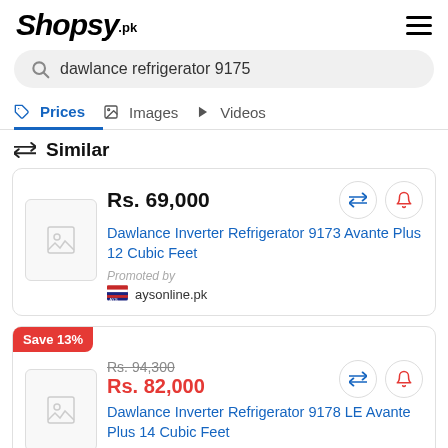Shopsy.pk
dawlance refrigerator 9175
Prices | Images | Videos
Similar
| Price | Title | Promoted by |
| --- | --- | --- |
| Rs. 69,000 | Dawlance Inverter Refrigerator 9173 Avante Plus 12 Cubic Feet | aysonline.pk |
| Rs. 94,300 / Rs. 82,000 (Save 13%) | Dawlance Inverter Refrigerator 9178 LE Avante Plus 14 Cubic Feet |  |